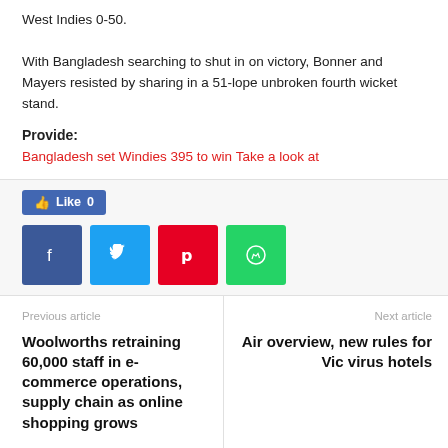West Indies 0-50. With Bangladesh searching to shut in on victory, Bonner and Mayers resisted by sharing in a 51-lope unbroken fourth wicket stand.
Provide:
Bangladesh set Windies 395 to win Take a look at
[Figure (other): Social sharing buttons: Facebook Like button (0 likes), and four share icon buttons for Facebook, Twitter, Pinterest, and WhatsApp]
Previous article
Woolworths retraining 60,000 staff in e-commerce operations, supply chain as online shopping grows
Next article
Air overview, new rules for Vic virus hotels